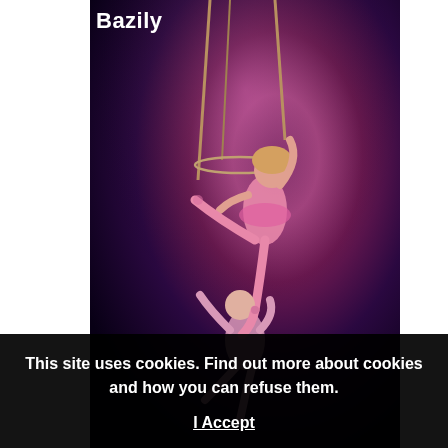[Figure (photo): Aerial circus performers on ropes against a dark purple/blue background. A female acrobat in pink costume holds rope rigging while another performer supports from below. Dramatic stage lighting.]
Bazily
This site uses cookies. Find out more about cookies and how you can refuse them.
I Accept